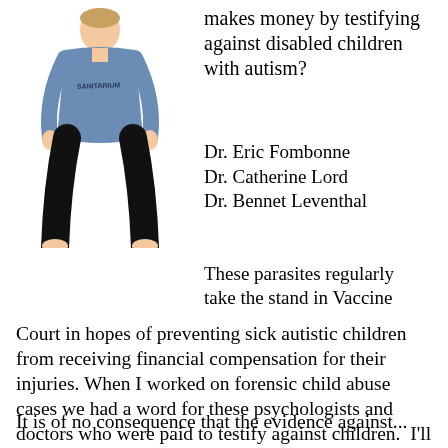[Figure (photo): A child wearing a blue oversized hospital gown/shirt with dark text on it, black pants, standing barefoot]
makes money by testifying against disabled children with autism?
Dr. Eric Fombonne
Dr. Catherine Lord
Dr. Bennet Leventhal
These parasites regularly take the stand in Vaccine Court in hopes of preventing sick autistic children from receiving financial compensation for their injuries. When I worked on forensic child abuse cases we had a word for these psychologists and doctors who were paid to testify against children.  I'll leave that to your imagination.
It is of no consequence that the evidence against...